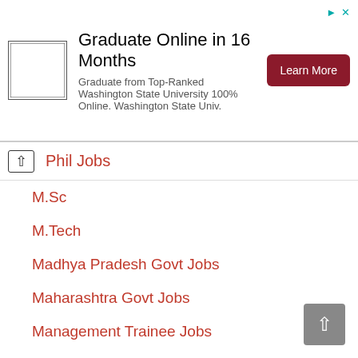[Figure (infographic): Advertisement banner: WSU logo on left, text 'Graduate Online in 16 Months' with subtitle 'Graduate from Top-Ranked Washington State University 100% Online. Washington State Univ.' and a dark red 'Learn More' button on the right. Small icons top right.]
Phil Jobs
M.Sc
M.Tech
Madhya Pradesh Govt Jobs
Maharashtra Govt Jobs
Management Trainee Jobs
Manager Jobs
Manipur Govt Jobs
Master's Degree
MBA
MBBS Jobs